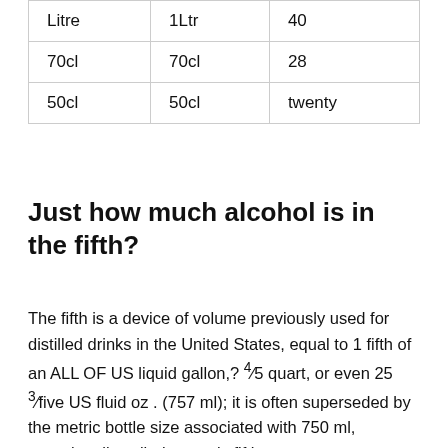| Litre | 1Ltr | 40 |
| 70cl | 70cl | 28 |
| 50cl | 50cl | twenty |
Just how much alcohol is in the fifth?
The fifth is a device of volume previously used for distilled drinks in the United States, equal to 1 fifth of an ALL OF US liquid gallon,? ⁴⁄5 quart, or even 25 ³⁄five US fluid oz . (757 ml); it is often superseded by the metric bottle size associated with 750 ml, occasionally called a metric fifth,